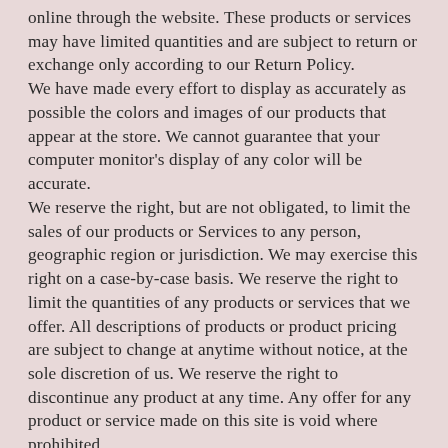online through the website. These products or services may have limited quantities and are subject to return or exchange only according to our Return Policy. We have made every effort to display as accurately as possible the colors and images of our products that appear at the store. We cannot guarantee that your computer monitor's display of any color will be accurate. We reserve the right, but are not obligated, to limit the sales of our products or Services to any person, geographic region or jurisdiction. We may exercise this right on a case-by-case basis. We reserve the right to limit the quantities of any products or services that we offer. All descriptions of products or product pricing are subject to change at anytime without notice, at the sole discretion of us. We reserve the right to discontinue any product at any time. Any offer for any product or service made on this site is void where prohibited. We do not warrant that the quality of any products, services, information, or other material purchased or obtained by you will meet your expectations, or that any